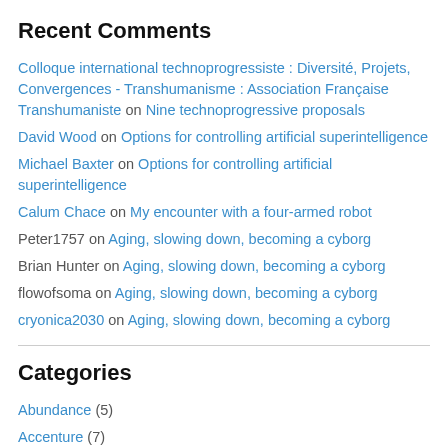Recent Comments
Colloque international technoprogressiste : Diversité, Projets, Convergences - Transhumanisme : Association Française Transhumaniste on Nine technoprogressive proposals
David Wood on Options for controlling artificial superintelligence
Michael Baxter on Options for controlling artificial superintelligence
Calum Chace on My encounter with a four-armed robot
Peter1757 on Aging, slowing down, becoming a cyborg
Brian Hunter on Aging, slowing down, becoming a cyborg
flowofsoma on Aging, slowing down, becoming a cyborg
cryonica2030 on Aging, slowing down, becoming a cyborg
Categories
Abundance (5)
Accenture (7)
AGI (31)
Agile (6)